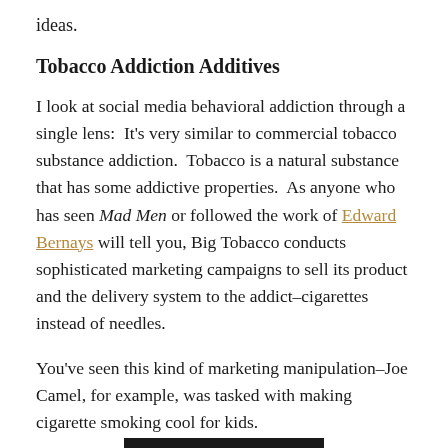ideas.
Tobacco Addiction Additives
I look at social media behavioral addiction through a single lens:  It's very similar to commercial tobacco substance addiction.  Tobacco is a natural substance that has some addictive properties.  As anyone who has seen Mad Men or followed the work of Edward Bernays will tell you, Big Tobacco conducts sophisticated marketing campaigns to sell its product and the delivery system to the addict–cigarettes instead of needles.
You've seen this kind of marketing manipulation–Joe Camel, for example, was tasked with making cigarette smoking cool for kids.